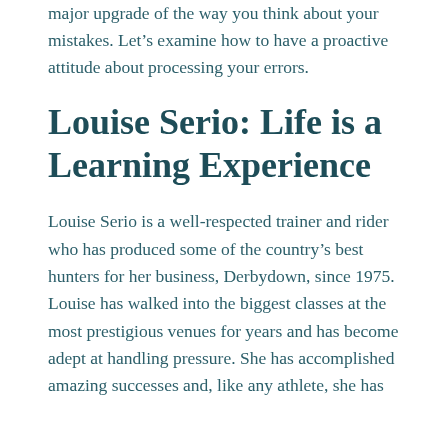major upgrade of the way you think about your mistakes. Let's examine how to have a proactive attitude about processing your errors.
Louise Serio: Life is a Learning Experience
Louise Serio is a well-respected trainer and rider who has produced some of the country's best hunters for her business, Derbydown, since 1975. Louise has walked into the biggest classes at the most prestigious venues for years and has become adept at handling pressure. She has accomplished amazing successes and, like any athlete, she has